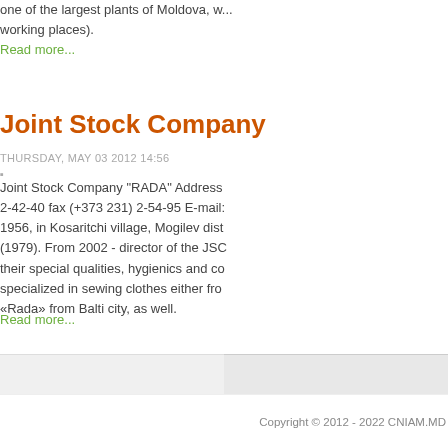one of the largest plants of Moldova, working places).
Read more...
Joint Stock Company
THURSDAY, MAY 03 2012 14:56
Joint Stock Company "RADA" Address: 2-42-40 fax (+373 231) 2-54-95 E-mail: 1956, in Kosaritchi village, Mogilev dist (1979). From 2002 - director of the JSC their special qualities, hygienics and co specialized in sewing clothes either fro «Rada» from Balti city, as well.
Read more...
<< S
Copyright © 2012 - 2022 CNIAM.MD